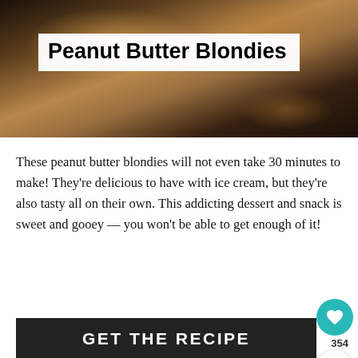[Figure (photo): Hero photo of peanut butter blondies on a dark background with peanuts scattered around]
Peanut Butter Blondies
These peanut butter blondies will not even take 30 minutes to make! They're delicious to have with ice cream, but they're also tasty all on their own. This addicting dessert and snack is sweet and gooey — you won't be able to get enough of it!
GET THE RECIPE
354
[Figure (photo): What's Next thumbnail - Easy No Bake Peanut Butt...]
WHAT'S NEXT → Easy No Bake Peanut Butt...
[Figure (photo): Dark wood background image at bottom]
[Figure (other): take the pledge advertisement banner with arrow and Release logo]